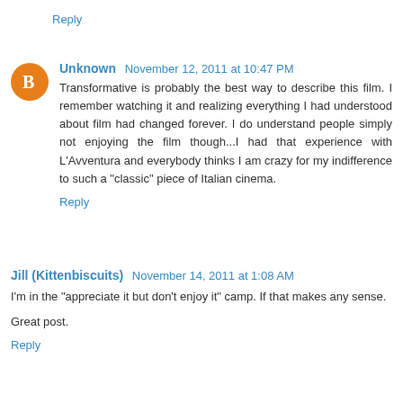Reply
Unknown  November 12, 2011 at 10:47 PM
Transformative is probably the best way to describe this film. I remember watching it and realizing everything I had understood about film had changed forever. I do understand people simply not enjoying the film though...I had that experience with L'Avventura and everybody thinks I am crazy for my indifference to such a "classic" piece of Italian cinema.
Reply
Jill (Kittenbiscuits)  November 14, 2011 at 1:08 AM
I'm in the "appreciate it but don't enjoy it" camp. If that makes any sense.
Great post.
Reply